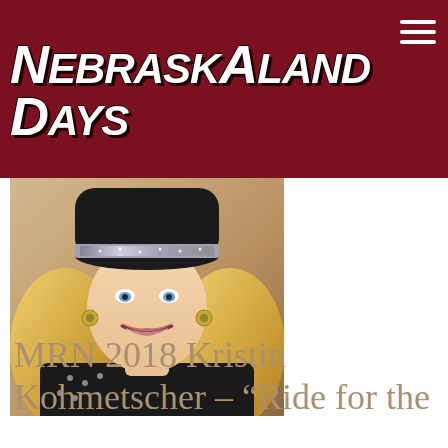[Figure (logo): NebraskaLand Days logo with white Western-style bold italic text on dark red background, with a longhorn bull skull graphic in white outline to the right, and a hamburger menu icon in top right corner]
[Figure (photo): Portrait photo of a young blonde woman wearing a black cowboy hat with a sparkly silver hatband, gold earrings, a necklace, and a studded black leather jacket, smiling at the camera against a warm tan/brown background]
MRN 2018 Kristin Kohmetscher – “Ride for the